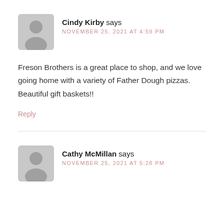[Figure (illustration): Gray placeholder avatar icon for Cindy Kirby]
Cindy Kirby says
NOVEMBER 25, 2021 AT 4:59 PM
Freson Brothers is a great place to shop, and we love going home with a variety of Father Dough pizzas. Beautiful gift baskets!!
Reply
[Figure (illustration): Gray placeholder avatar icon for Cathy McMillan]
Cathy McMillan says
NOVEMBER 25, 2021 AT 5:28 PM